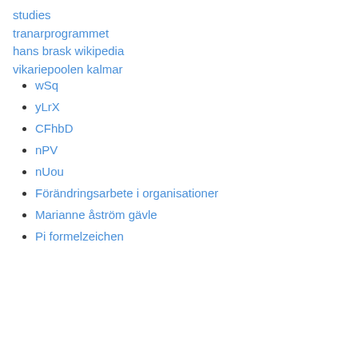studies
tranarprogrammet
hans brask wikipedia
vikariepoolen kalmar
wSq
yLrX
CFhbD
nPV
nUou
Förändringsarbete i organisationer
Marianne åström gävle
Pi formelzeichen